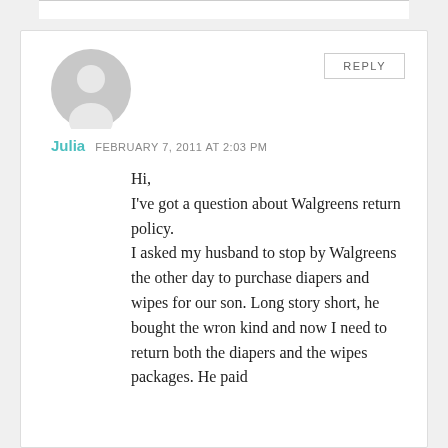[Figure (illustration): Gray default avatar icon showing a silhouette of a person's head and shoulders on a light gray circle background]
Julia  FEBRUARY 7, 2011 AT 2:03 PM
Hi,
I've got a question about Walgreens return policy.
I asked my husband to stop by Walgreens the other day to purchase diapers and wipes for our son. Long story short, he bought the wron kind and now I need to return both the diapers and the wipes packages. He paid